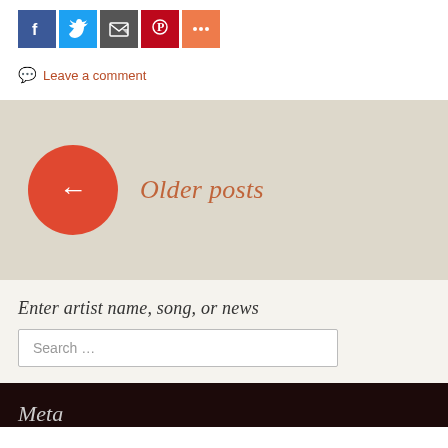[Figure (other): Social share buttons: Facebook (blue), Twitter (light blue), Email/share (dark grey), Pinterest (red), More (orange)]
Leave a comment
Older posts
Enter artist name, song, or news
Search ...
Meta